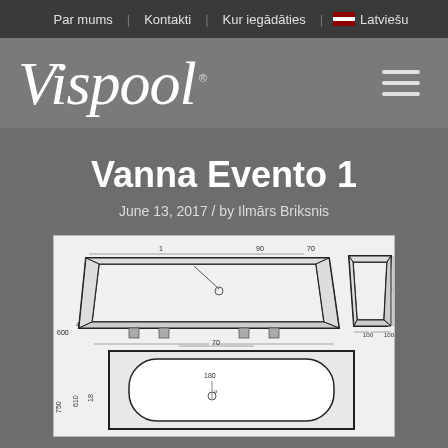Par mums | Kontakti | Kur iegādāties | Latviešu
[Figure (logo): Vispool cursive logo with registered trademark symbol and hamburger menu icon]
Vanna Evento 1
June 13, 2017 / by Ilmārs Briksnis
[Figure (engineering-diagram): Technical engineering drawing of bathtub Evento 1 showing front elevation view with dimensions (600, 445), top dimension markers (90, 70), side cross-section view with green highlighted area, and plan view showing 750, 610, 70, 180 dimensions with oval interior shape]